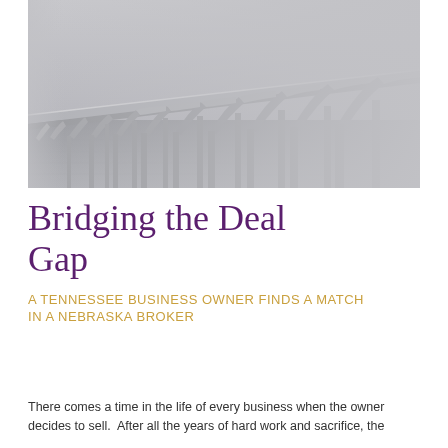[Figure (photo): A long concrete arch bridge extending into misty fog over calm water, photographed in grey tones with a minimalist atmospheric perspective.]
Bridging the Deal Gap
A TENNESSEE BUSINESS OWNER FINDS A MATCH IN A NEBRASKA BROKER
There comes a time in the life of every business when the owner decides to sell.  After all the years of hard work and sacrifice, the